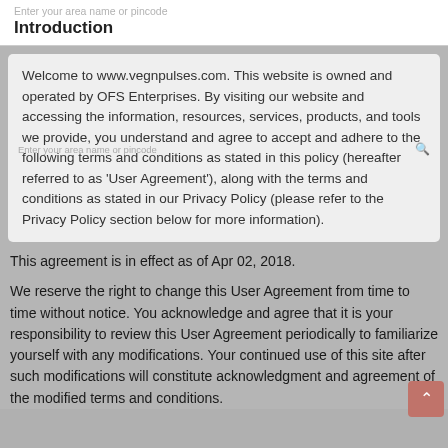Enter your area name or pincode
Introduction
Welcome to www.vegnpulses.com. This website is owned and operated by OFS Enterprises. By visiting our website and accessing the information, resources, services, products, and tools we provide, you understand and agree to accept and adhere to the following terms and conditions as stated in this policy (hereafter referred to as 'User Agreement'), along with the terms and conditions as stated in our Privacy Policy (please refer to the Privacy Policy section below for more information).
This agreement is in effect as of Apr 02, 2018.
We reserve the right to change this User Agreement from time to time without notice. You acknowledge and agree that it is your responsibility to review this User Agreement periodically to familiarize yourself with any modifications. Your continued use of this site after such modifications will constitute acknowledgment and agreement of the modified terms and conditions.